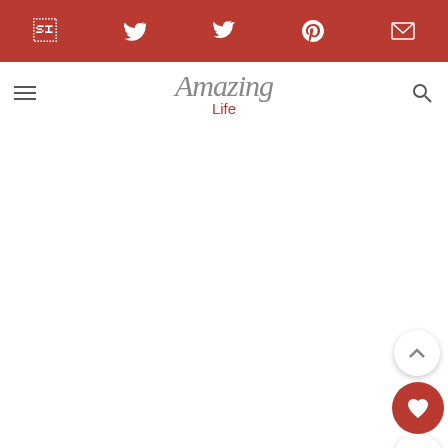f  [twitter]  p  [mail]
[Figure (logo): Website logo with script text and 'Life' subtitle in red]
Next, place plastic wrap on the counter in o large rectangle. Then add some flour (white
[Figure (screenshot): Advertisement banner: Dave Thomas Foundation for Adoption with DONATE NOW button and photo of a boy]
ri dough o d roll it